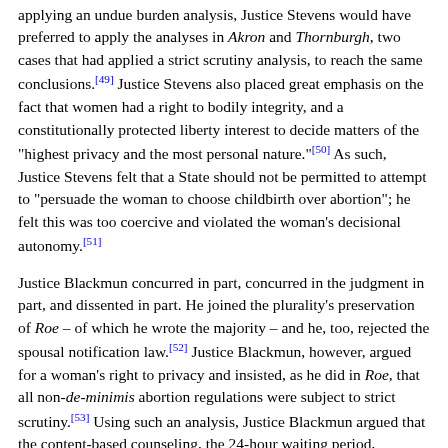applying an undue burden analysis, Justice Stevens would have preferred to apply the analyses in Akron and Thornburgh, two cases that had applied a strict scrutiny analysis, to reach the same conclusions.[49] Justice Stevens also placed great emphasis on the fact that women had a right to bodily integrity, and a constitutionally protected liberty interest to decide matters of the "highest privacy and the most personal nature."[50] As such, Justice Stevens felt that a State should not be permitted to attempt to "persuade the woman to choose childbirth over abortion"; he felt this was too coercive and violated the woman's decisional autonomy.[51]
Justice Blackmun concurred in part, concurred in the judgment in part, and dissented in part. He joined the plurality's preservation of Roe – of which he wrote the majority – and he, too, rejected the spousal notification law.[52] Justice Blackmun, however, argued for a woman's right to privacy and insisted, as he did in Roe, that all non-de-minimis abortion regulations were subject to strict scrutiny.[53] Using such an analysis, Justice Blackmun argued that the content-based counseling, the 24-hour waiting period, informed parental consent, and the reporting regulations were unconstitutional.[54] He also dissented from the plurality's undue burden test, and instead found his trimester framework "administrable" and "far less manipulable".[55] Blackmun even